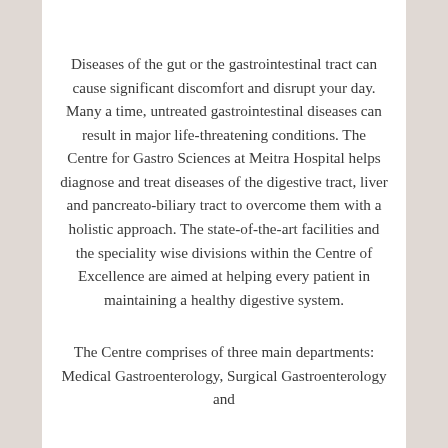Diseases of the gut or the gastrointestinal tract can cause significant discomfort and disrupt your day. Many a time, untreated gastrointestinal diseases can result in major life-threatening conditions. The Centre for Gastro Sciences at Meitra Hospital helps diagnose and treat diseases of the digestive tract, liver and pancreato-biliary tract to overcome them with a holistic approach. The state-of-the-art facilities and the speciality wise divisions within the Centre of Excellence are aimed at helping every patient in maintaining a healthy digestive system.
The Centre comprises of three main departments: Medical Gastroenterology, Surgical Gastroenterology and